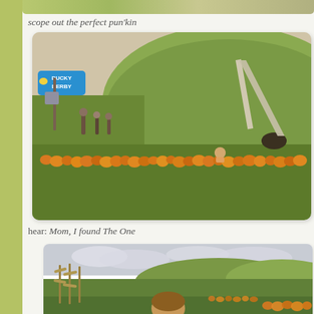scope out the perfect pun'kin
[Figure (photo): Outdoor fall pumpkin patch scene with a green grassy hill featuring a slide, a 'Ducky Derby' sign/game, people in background, and a row of orange pumpkins in the foreground]
hear: Mom, I found The One
[Figure (photo): Child at a pumpkin patch outdoors with rolling green hills and cloudy sky in background, corn stalks visible, row of pumpkins]